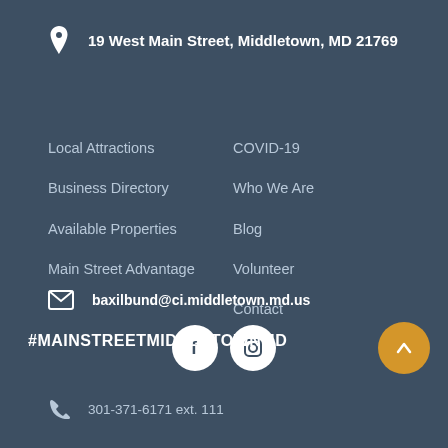19 West Main Street, Middletown, MD 21769
Local Attractions
Business Directory
Available Properties
Main Street Advantage
COVID-19
Who We Are
Blog
Volunteer
Contact
baxilbund@ci.middletown.md.us
[Figure (illustration): Facebook and Instagram social media icon buttons (white circles with f and camera icons)]
#MAINSTREETMIDDLETOWNMD
301-371-6171 ext. 111